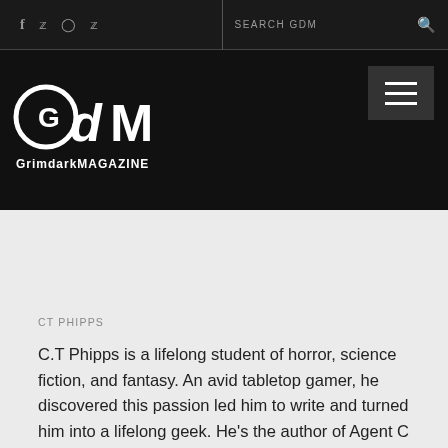f  twitter  instagram  pinterest  |  SEARCH GDM  🔍
[Figure (logo): GrimdarkMAGAZINE logo — stylized GdM letters with distressed texture, white on black background, with 'GrimdarkMAGAZINE' text below]
CT PHIPPS
C.T Phipps is a lifelong student of horror, science fiction, and fantasy. An avid tabletop gamer, he discovered this passion led him to write and turned him into a lifelong geek. He's the author of Agent C...